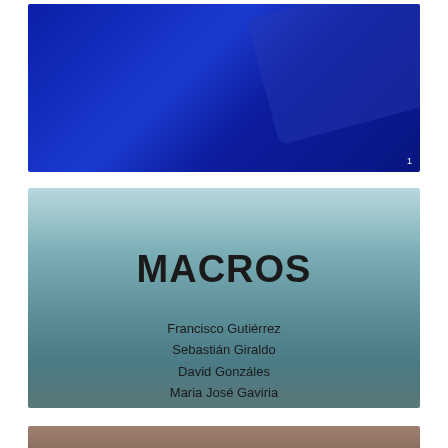[Figure (photo): Dark blue background panel representing a cover slide image, with a diagonal highlight shape in the upper right. Number '1' visible in lower right corner.]
MACROS
Francisco Gutiérrez
Sebastián Giraldo
David Gonzáles
Maria José Gaviria
[Figure (photo): Brown/taupe colored bottom panel strip.]